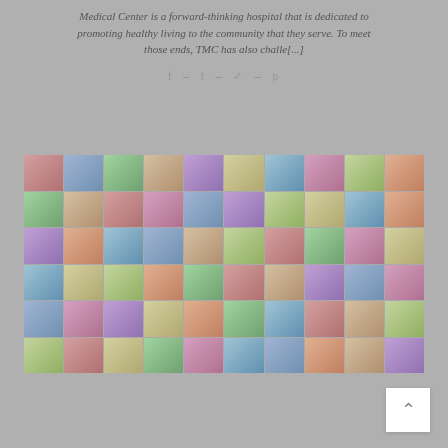Medical Center is a forward-thinking hospital that is dedicated to promoting healthy living to the community that they serve. To meet those ends, TMC has also challe[...]
f - t - p
[Figure (photo): A large collage grid of professional headshot portraits of medical staff, doctors, and healthcare workers arranged in rows and columns.]